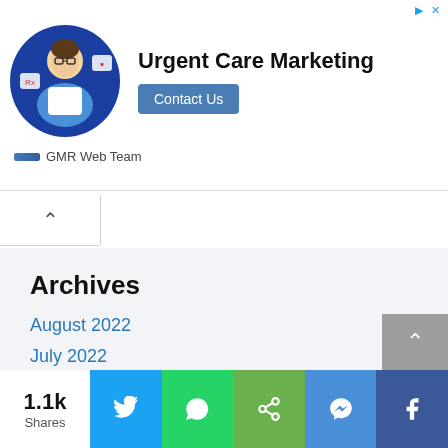[Figure (screenshot): Advertisement banner for Urgent Care Marketing by GMR Web Team, showing a person in a blue circle, bold text 'Urgent Care Marketing', and a 'Contact Us' button]
GMR Web Team
Archives
August 2022
July 2022
1.1k Shares